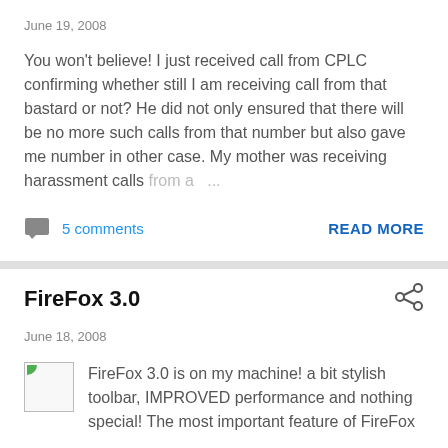June 19, 2008
You won't believe! I just received call from CPLC confirming whether still I am receiving call from that bastard or not? He did not only ensured that there will be no more such calls from that number but also gave me number in other case. My mother was receiving harassment calls from a ...
5 comments
READ MORE
FireFox 3.0
June 18, 2008
FireFox 3.0 is on my machine! a bit stylish toolbar, IMPROVED performance and nothing special! The most important feature of FireFox